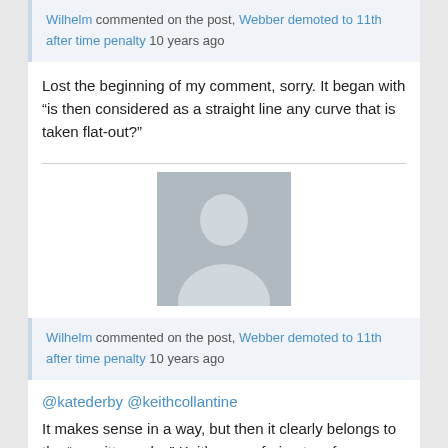Wilhelm commented on the post, Webber demoted to 11th after time penalty 10 years ago
Lost the beginning of my comment, sorry. It began with “is then considered as a straight line any curve that is taken flat-out?”
[Figure (illustration): Gray placeholder avatar icon showing a silhouette of a person]
Wilhelm commented on the post, Webber demoted to 11th after time penalty 10 years ago
@katederby @keithcollantine It makes sense in a way, but then it clearly belongs to the “unwritten rules” Keith was refering to a few months ago, if I remember correctly.